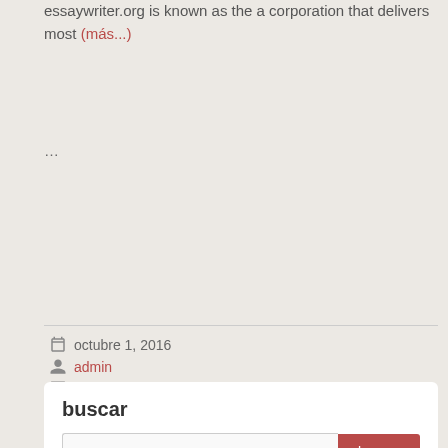essaywriter.org is known as the a corporation that delivers most (más...)
...
Leer más
octubre 1, 2016
admin
No hay comentarios
Uncategorized
Permalink
buscar
buscar